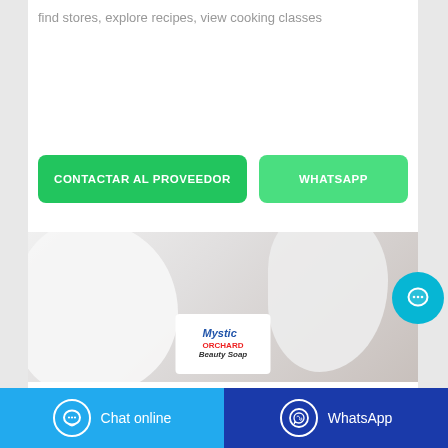find stores, explore recipes, view cooking classes
CONTACTAR AL PROVEEDOR
WHATSAPP
[Figure (photo): Product photo showing white foam/bubbles with a Mystic Orchard Beauty Soap bar label visible in the lower center]
Chat online
WhatsApp